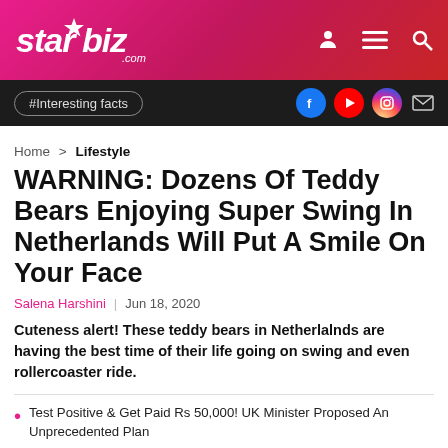starbiz.com
#Interesting facts
Home > Lifestyle
WARNING: Dozens Of Teddy Bears Enjoying Super Swing In Netherlands Will Put A Smile On Your Face
Salena Harshini | Jun 18, 2020
Cuteness alert! These teddy bears in Netherlalnds are having the best time of their life going on swing and even rollercoaster ride.
Test Positive & Get Paid Rs 50,000! UK Minister Proposed An Unprecedented Plan
One In Eight Recovered Covid-19 Patients Dies Within 140